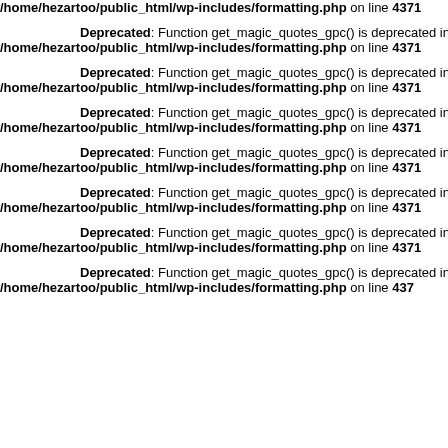/home/hezartoo/public_html/wp-includes/formatting.php on line 4371
Deprecated: Function get_magic_quotes_gpc() is deprecated in /home/hezartoo/public_html/wp-includes/formatting.php on line 4371
Deprecated: Function get_magic_quotes_gpc() is deprecated in /home/hezartoo/public_html/wp-includes/formatting.php on line 4371
Deprecated: Function get_magic_quotes_gpc() is deprecated in /home/hezartoo/public_html/wp-includes/formatting.php on line 4371
Deprecated: Function get_magic_quotes_gpc() is deprecated in /home/hezartoo/public_html/wp-includes/formatting.php on line 4371
Deprecated: Function get_magic_quotes_gpc() is deprecated in /home/hezartoo/public_html/wp-includes/formatting.php on line 4371
Deprecated: Function get_magic_quotes_gpc() is deprecated in /home/hezartoo/public_html/wp-includes/formatting.php on line 4371
Deprecated: Function get_magic_quotes_gpc() is deprecated in /home/hezartoo/public_html/wp-includes/formatting.php on line 4371